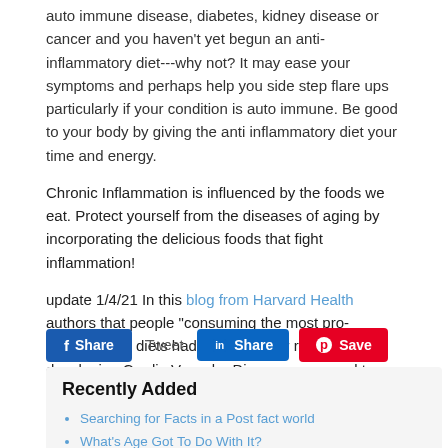auto immune disease, diabetes, kidney disease or cancer and you haven't yet begun an anti-inflammatory diet---why not? It may ease your symptoms and perhaps help you side step flare ups particularly if your condition is auto immune. Be good to your body by giving the anti inflammatory diet your time and energy.
Chronic Inflammation is influenced by the foods we eat. Protect yourself from the diseases of aging by incorporating the delicious foods that fight inflammation!
update 1/4/21 In this blog from Harvard Health authors that people "consuming the most pro-inflammatory diets had a 38% higher risk of developing Cardio Vascular Disease compared to those consuming the most anti-inflammatory diets."
[Figure (other): Social sharing buttons: Facebook Share, Tweet, LinkedIn Share, Pinterest Save]
Recently Added
Searching for Facts in a Post fact world
What's Age Got To Do With It?
2020 Year in Review
Get Your Table With an Inflammation Fighting Feast